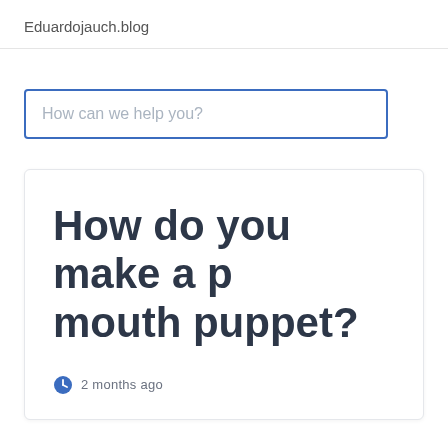Eduardojauch.blog
How can we help you?
How do you make a p mouth puppet?
2 months ago